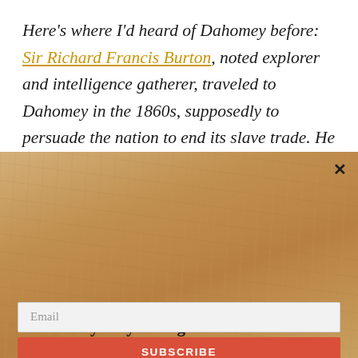Here's where I'd heard of Dahomey before: Sir Richard Francis Burton, noted explorer and intelligence gatherer, traveled to Dahomey in the 1860s, supposedly to persuade the nation to end its slave trade. He wrote a book, A Mission to Gelele, King of Dahomey, about the
[Figure (other): Newsletter subscription popup with parchment-style background. Title: Mystery – Magic – Monsters. Subtitle: ...Swirling snow, talking crows, twisted prose... Body text about horror/dark fantasy collection 'A Murder of Crows: 17 Tales of Monsters & the Macabre'. Email input and Subscribe button.]